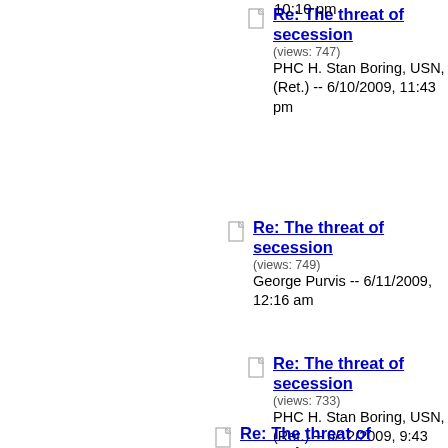10:10 pm
Re: The threat of secession (views: 747) PHC H. Stan Boring, USN, (Ret.) -- 6/10/2009, 11:43 pm
Re: The threat of secession (views: 749) George Purvis -- 6/11/2009, 12:16 am
Re: The threat of secession (views: 733) PHC H. Stan Boring, USN, (Ret.) -- 6/12/2009, 9:43 pm
Re: The threat of secession (views: 754)